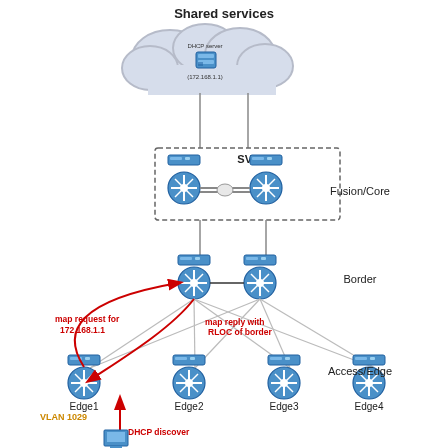[Figure (network-graph): Network diagram showing a hierarchical topology with Shared services cloud at top containing a DHCP server (172.168.1.1), connected to a Fusion/Core layer with SVL switch pair, connected to a Border layer with two switches, connected to an Access/Edge layer with four edge switches (Edge1, Edge2, Edge3, Edge4). Red arrows show map request for 172.168.1.1, map reply with RLOC of border, and DHCP discover flow. VLAN 1029 label shown near Edge1.]